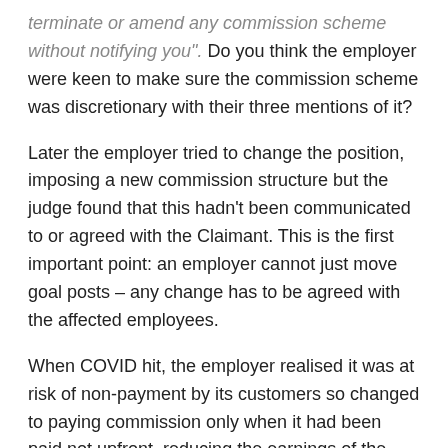terminate or amend any commission scheme without notifying you". Do you think the employer were keen to make sure the commission scheme was discretionary with their three mentions of it?
Later the employer tried to change the position, imposing a new commission structure but the judge found that this hadn't been communicated to or agreed with the Claimant. This is the first important point: an employer cannot just move goal posts – any change has to be agreed with the affected employees.
When COVID hit, the employer realised it was at risk of non-payment by its customers so changed to paying commission only when it had been paid not upfront, reducing the earnings of the Claimant. The Claimant was furloughed and challenged why he wasn't receiving commission on deals he knew had been signed and paid. He was told during furlough commission was deferred. The Claimant didn't return to work – he was